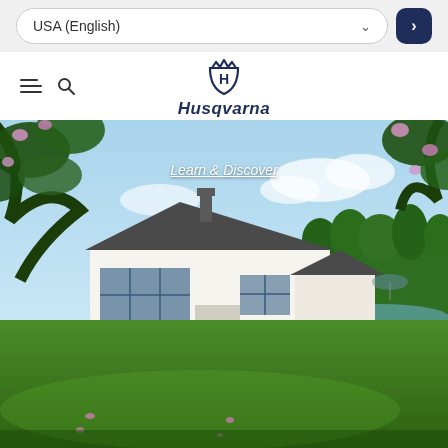USA (English)
[Figure (logo): Husqvarna logo with crown icon and brand name]
[Figure (photo): Scenic photo of a large white house with well-manicured green lawn, trees with pink flowers in foreground, lake and forest in background]
Learn & Discover